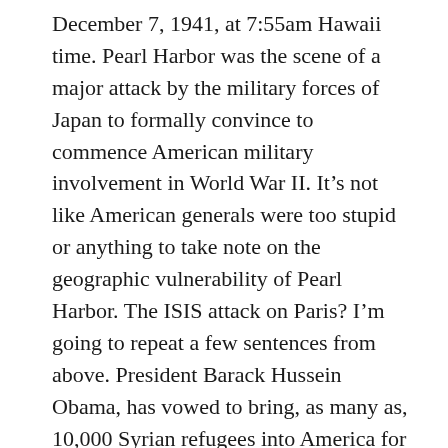December 7, 1941, at 7:55am Hawaii time. Pearl Harbor was the scene of a major attack by the military forces of Japan to formally convince to commence American military involvement in World War II. It's not like American generals were too stupid or anything to take note on the geographic vulnerability of Pearl Harbor. The ISIS attack on Paris? I'm going to repeat a few sentences from above. President Barack Hussein Obama, has vowed to bring, as many as, 10,000 Syrian refugees into America for the initial phase of a federal resettlement operation (with thousands more to arrive in the future). He hardly knows anything about them. Despite what took place in Paris, he wants them here. There's more at stake here than meets the eye. Indeed, these attacks have a strange feeling around them, and while the public is in shock and awe over the vicious, and ruthless criminal act conducted by such bad actors, I'm not. So, we have